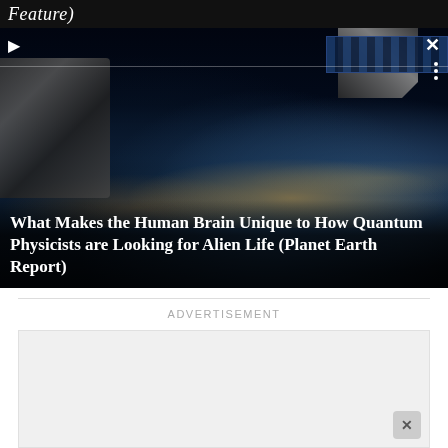Feature)
[Figure (screenshot): Video player showing ISS/space station photograph taken from orbit, showing Earth below with city lights visible and ISS components in foreground. Play button top-left, close (X) button top-right, three-dot menu below close button.]
What Makes the Human Brain Unique to How Quantum Physicists are Looking for Alien Life (Planet Earth Report)
ADVERTISEMENT
[Figure (other): Advertisement placeholder box (gray/empty)]